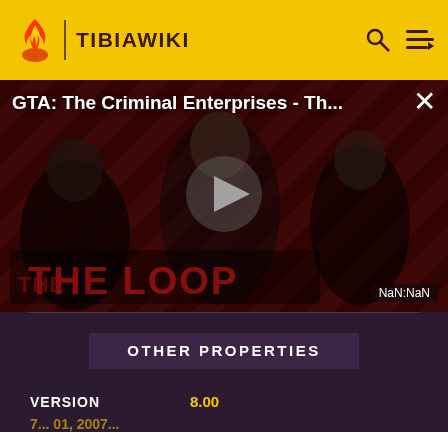TIBIAWIKI
[Figure (screenshot): Video thumbnail for 'GTA: The Criminal Enterprises - Th...' showing characters on a red diagonal-striped background with 'THE LOOP' text and a play button overlay. Timer shows NaN:NaN.]
OTHER PROPERTIES
VERSION   8.00